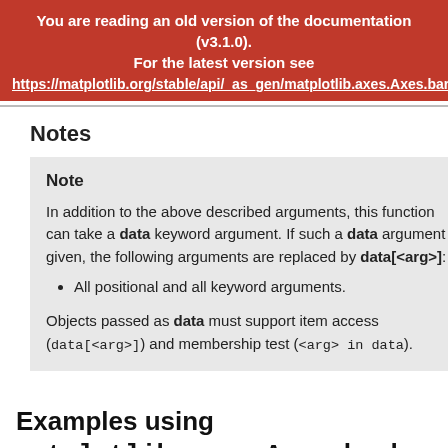You are reading an old version of the documentation (v3.1.0). For the latest version see https://matplotlib.org/stable/api/_as_gen/matplotlib.axes.Axes.bar
Notes
Note
In addition to the above described arguments, this function can take a data keyword argument. If such a data argument is given, the following arguments are replaced by data[<arg>]:
All positional and all keyword arguments.
Objects passed as data must support item access (data[<arg>]) and membership test (<arg> in data).
Examples using matplotlib.axes.Axes.barbs